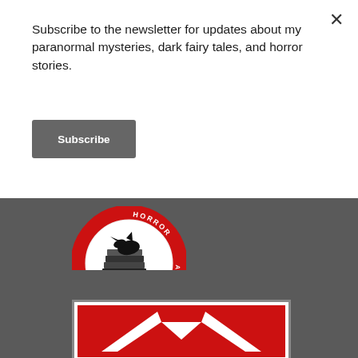Subscribe to the newsletter for updates about my paranormal mysteries, dark fairy tales, and horror stories.
Subscribe
[Figure (logo): Horror Writers Association Member badge — circular badge with a raven/crow on stacked books, red text reading HORROR and ASSOCIATION around the circle, MEMBER at the bottom]
PUBLISHED BY MGB
[Figure (logo): MGB publisher logo — red background with white angular bird/chevron wing shapes forming initials, inside a white-bordered black frame]